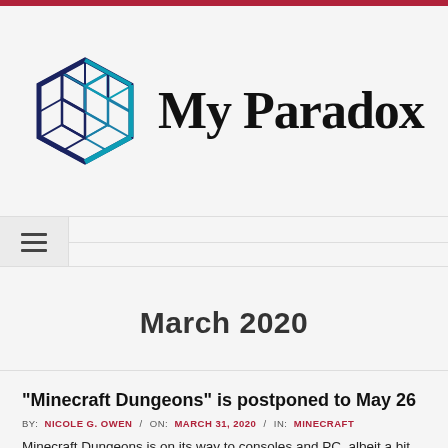My Paradox
March 2020
“Minecraft Dungeons” is postponed to May 26
BY: NICOLE G. OWEN / ON: MARCH 31, 2020 / IN: MINECRAFT
Minecraft Dungeons is on its way to consoles and PC, albeit a bit later than expected. Mojang says the Minecraft The Dungeon-Crawler spin-off will be released on May 26 on PC, Xbox One, Xbox Game Pass, PlayStation 4 and, as revealed during last